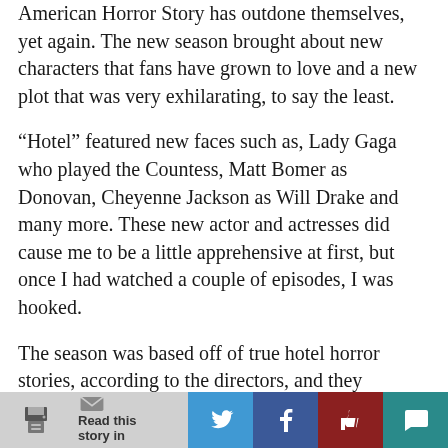American Horror Story has outdone themselves, yet again. The new season brought about new characters that fans have grown to love and a new plot that was very exhilarating, to say the least.
“Hotel” featured new faces such as, Lady Gaga who played the Countess, Matt Bomer as Donovan, Cheyenne Jackson as Will Drake and many more. These new actor and actresses did cause me to be a little apprehensive at first, but once I had watched a couple of episodes, I was hooked.
The season was based off of true hotel horror stories, according to the directors, and they planned to make this fifth season one of darkest, and it was. Every episode kept me on edge, wanting more.
The show was placed in Los Angeles, California at the